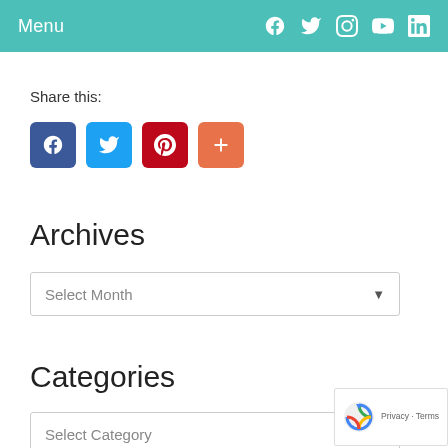Menu
Share this:
[Figure (other): Social share buttons: Facebook (blue), Twitter (light blue), Pinterest (red), More (orange)]
Archives
Select Month
Categories
Select Category